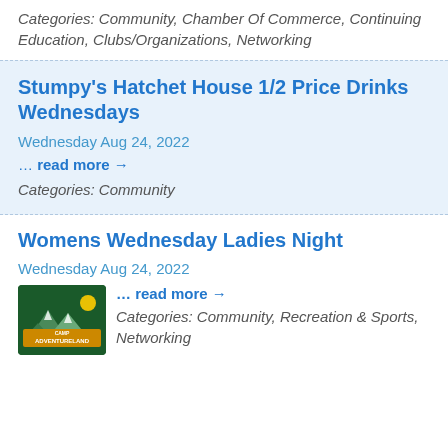Categories: Community, Chamber Of Commerce, Continuing Education, Clubs/Organizations, Networking
Stumpy's Hatchet House 1/2 Price Drinks Wednesdays
Wednesday Aug 24, 2022
… read more →
Categories: Community
Womens Wednesday Ladies Night
Wednesday Aug 24, 2022
[Figure (logo): Camp Adventureland logo with mountains and green background]
… read more →
Categories: Community, Recreation & Sports, Networking